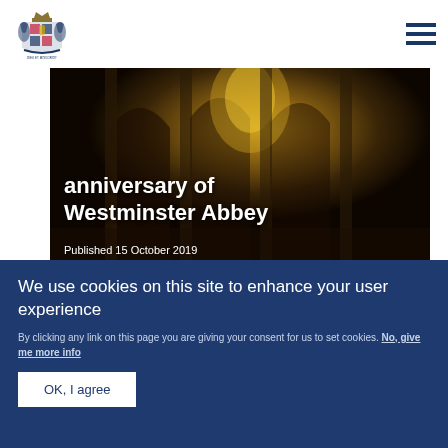Royal.uk header with royal crest logo and navigation menu
[Figure (photo): Interior photograph of Westminster Abbey with golden lighting, Gothic architecture visible]
anniversary of Westminster Abbey
Published 15 October 2019
PRESS RELEASE   17 OCTOBER 2019
The Queen's message to the Governors and people of New
We use cookies on this site to enhance your user experience
By clicking any link on this page you are giving your consent for us to set cookies. No, give me more info
OK, I agree